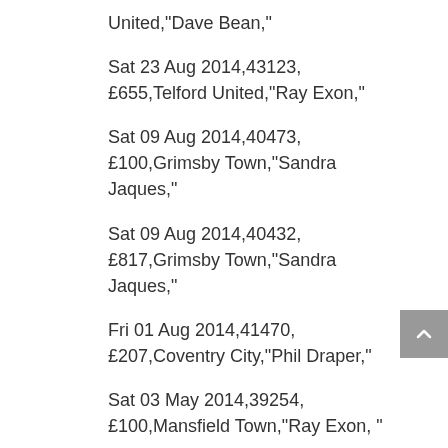United,"Dave Bean,"
Sat 23 Aug 2014,43123,£655,Telford United,"Ray Exon,"
Sat 09 Aug 2014,40473,£100,Grimsby Town,"Sandra Jaques,"
Sat 09 Aug 2014,40432,£817,Grimsby Town,"Sandra Jaques,"
Fri 01 Aug 2014,41470,£207,Coventry City,"Phil Draper,"
Sat 03 May 2014,39254, £100,Mansfield Town,"Ray Exon, "
Sat 03 May 2014,39111, £1498,Mansfield Town,"Pete Collins, "
Mon 21 Apr 2014,36083, £881,Rochdale,"Pat